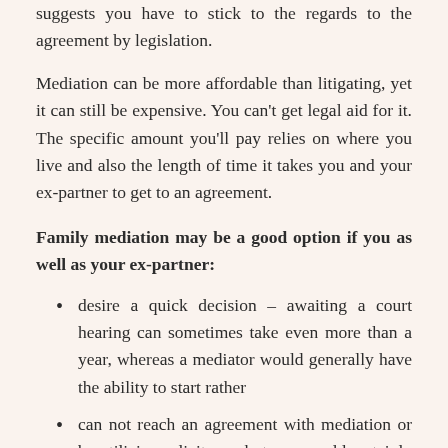suggests you have to stick to the regards to the agreement by legislation.
Mediation can be more affordable than litigating, yet it can still be expensive. You can't get legal aid for it. The specific amount you'll pay relies on where you live and also the length of time it takes you and your ex-partner to get to an agreement.
Family mediation may be a good option if you as well as your ex-partner:
desire a quick decision – awaiting a court hearing can sometimes take even more than a year, whereas a mediator would generally have the ability to start rather
can not reach an agreement with mediation or by utilizing solicitors – but you would certainly still such as to avoid litigating
would like somebody else to decide for you.